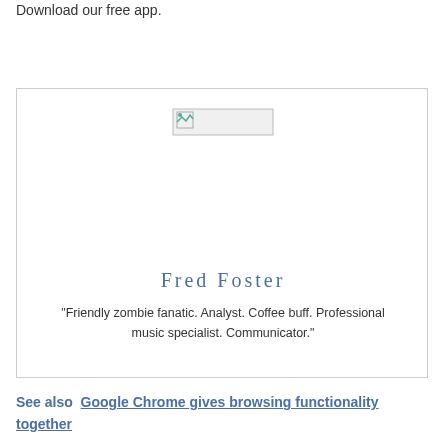Download our free app.
[Figure (photo): Broken image placeholder for Fred Foster profile photo]
Fred Foster
“Friendly zombie fanatic. Analyst. Coffee buff. Professional music specialist. Communicator.”
See also  Google Chrome gives browsing functionality together